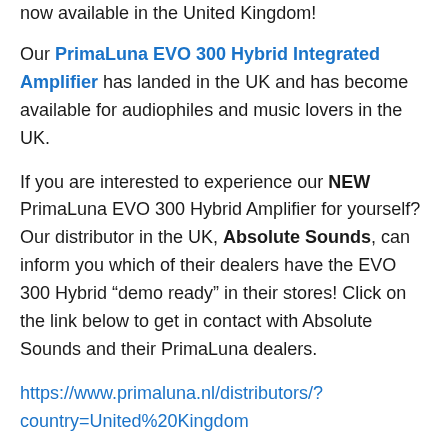now available in the United Kingdom!
Our PrimaLuna EVO 300 Hybrid Integrated Amplifier has landed in the UK and has become available for audiophiles and music lovers in the UK.
If you are interested to experience our NEW PrimaLuna EVO 300 Hybrid Amplifier for yourself? Our distributor in the UK, Absolute Sounds, can inform you which of their dealers have the EVO 300 Hybrid “demo ready” in their stores! Click on the link below to get in contact with Absolute Sounds and their PrimaLuna dealers.
https://www.primaluna.nl/distributors/?country=United%20Kingdom
Share this: